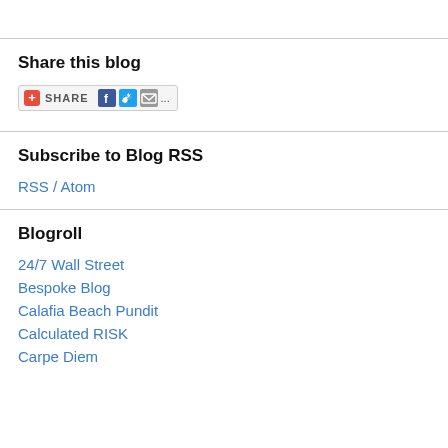Share this blog
[Figure (other): Share button widget with orange plus icon, SHARE text, Facebook, Twitter, and email icons]
Subscribe to Blog RSS
RSS / Atom
Blogroll
24/7 Wall Street
Bespoke Blog
Calafia Beach Pundit
Calculated RISK
Carpe Diem